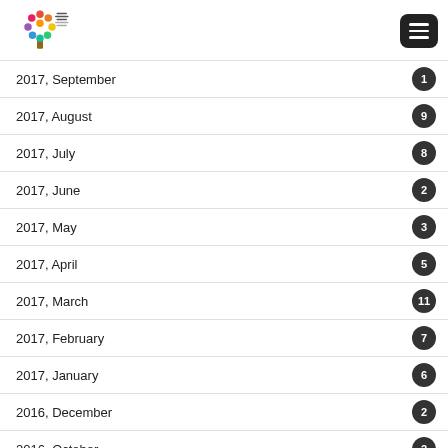Global for Social Development Fund logo and menu button
2017, September
2017, August
2017, July
2017, June
2017, May
2017, April
2017, March
2017, February
2017, January
2016, December
2016, October
2016, September
2016, August
2016, July
2016, June